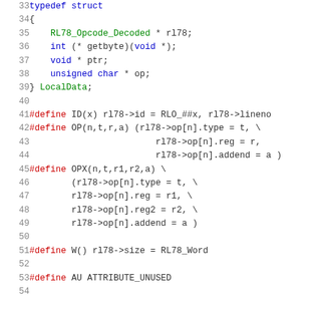Source code listing lines 33-54, C typedef struct and macro definitions for RL78 architecture